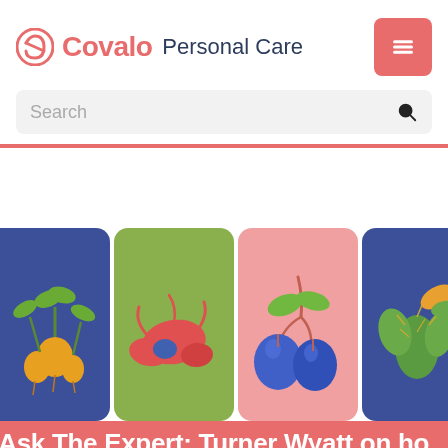[Figure (logo): Covalo Personal Care logo with circular icon on left and hamburger menu button on right]
Search
[Figure (illustration): Four illustrated ingredient cards in a row: golden beets on blue background, red sea creature on green background, blue plums on pink background, cactus on blue background]
Ask The Expert: Turner Wyatt on ho...